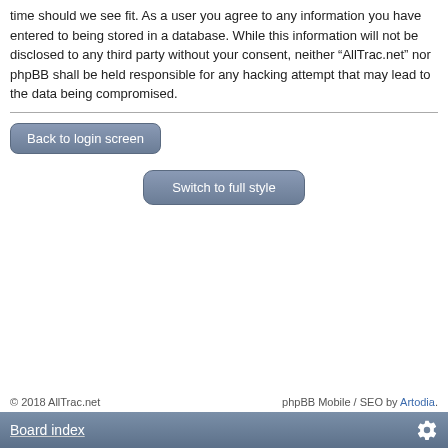time should we see fit. As a user you agree to any information you have entered to being stored in a database. While this information will not be disclosed to any third party without your consent, neither “AllTrac.net” nor phpBB shall be held responsible for any hacking attempt that may lead to the data being compromised.
Back to login screen
Switch to full style
© 2018 AllTrac.net    phpBB Mobile / SEO by Artodia.
Board index